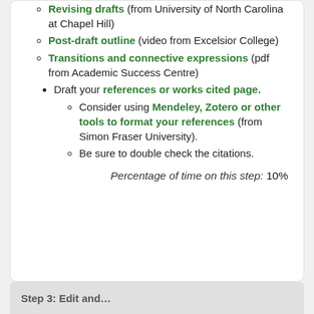Revising drafts (from University of North Carolina at Chapel Hill)
Post-draft outline (video from Excelsior College)
Transitions and connective expressions (pdf from Academic Success Centre)
Draft your references or works cited page.
Consider using Mendeley, Zotero or other tools to format your references (from Simon Fraser University).
Be sure to double check the citations.
Percentage of time on this step: 10%
Step 3: Edit and...